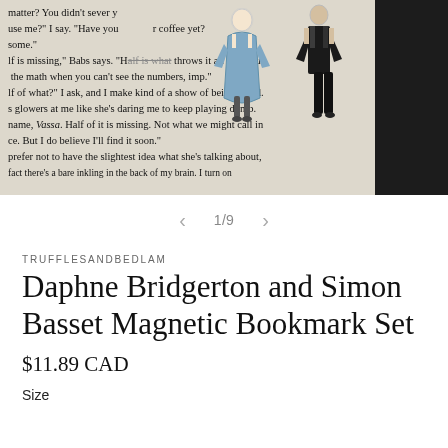[Figure (photo): A photo of an open book page with text visible, and two magnetic bookmark stickers placed on the page — one depicting a woman in a blue dress (Daphne Bridgerton) and one depicting a man in a black suit (Simon Basset). A dark strip is visible on the right edge.]
1/9
TRUFFLESANDBEDLAM
Daphne Bridgerton and Simon Basset Magnetic Bookmark Set
$11.89 CAD
Size